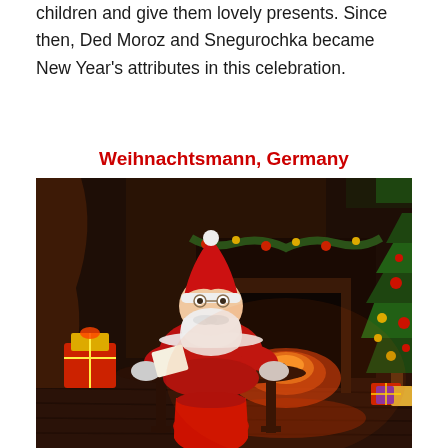children and give them lovely presents. Since then, Ded Moroz and Snegurochka became New Year's attributes in this celebration.
Weihnachtsmann, Germany
[Figure (photo): Santa Claus dressed in red suit sitting at a dark wooden desk, reading/writing a letter, with a red gift sack at his feet, a lit fireplace in the background, decorated Christmas tree on the right with wrapped presents underneath, festive garland over the fireplace mantle, warm dark atmospheric indoor setting.]